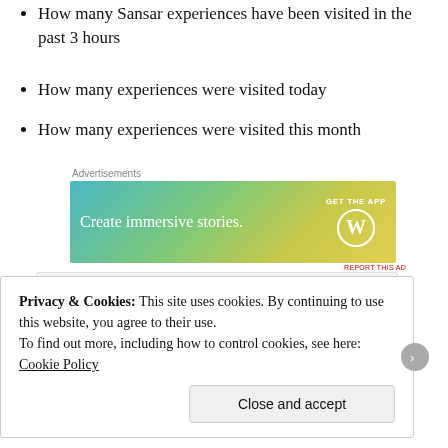How many Sansar experiences have been visited in the past 3 hours
How many experiences were visited today
How many experiences were visited this month
[Figure (other): WordPress advertisement banner: 'Create immersive stories. GET THE APP' with WordPress logo]
[Figure (screenshot): Live stats box showing: There are 1,071 experiences listed. There are 15 people in 9 listed experiences now. Today's peak is 15 and average is 7 people. 8 experiences visited these past 3 hours.]
Privacy & Cookies: This site uses cookies. By continuing to use this website, you agree to their use.
To find out more, including how to control cookies, see here: Cookie Policy